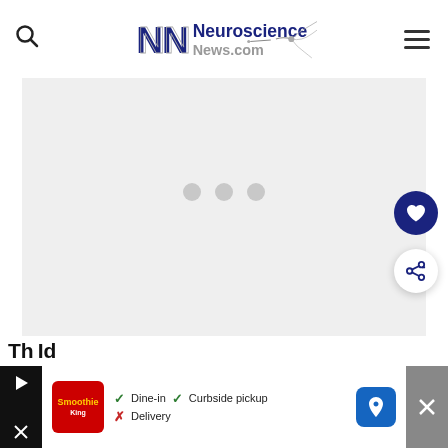Neuroscience News.com
[Figure (other): Loading advertisement placeholder area with three grey dots indicating content loading]
[Figure (other): Floating heart/favorite button (dark blue circle) and share button (white circle with share icon)]
[Figure (other): Bottom overlay advertisement showing Smoothie King logo with Dine-in, Curbside pickup, Delivery options and map/navigation icon]
Th... Id...